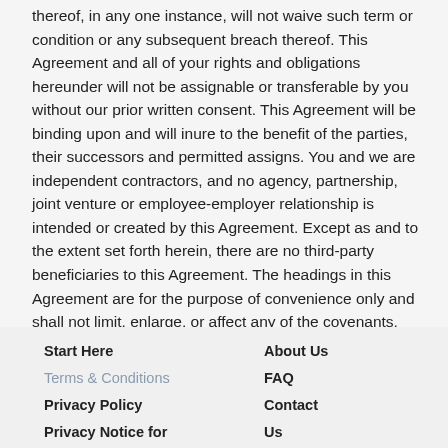thereof, in any one instance, will not waive such term or condition or any subsequent breach thereof. This Agreement and all of your rights and obligations hereunder will not be assignable or transferable by you without our prior written consent. This Agreement will be binding upon and will inure to the benefit of the parties, their successors and permitted assigns. You and we are independent contractors, and no agency, partnership, joint venture or employee-employer relationship is intended or created by this Agreement. Except as and to the extent set forth herein, there are no third-party beneficiaries to this Agreement. The headings in this Agreement are for the purpose of convenience only and shall not limit, enlarge, or affect any of the covenants, terms, conditions or provisions of this Agreement.
Start Here | Terms & Conditions | Privacy Policy | Privacy Notice for | About Us | FAQ | Contact | Us